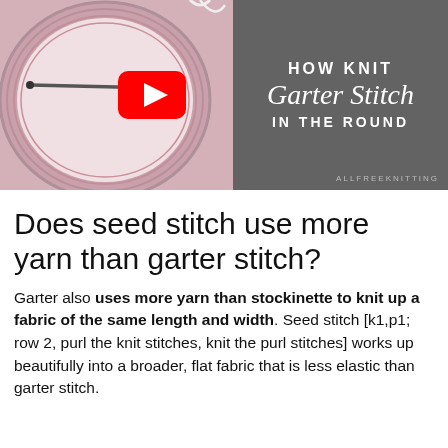[Figure (screenshot): YouTube video thumbnail showing knitted fabric circle with needles on left, dark grey panel on right with text 'HOW KNIT Garter Stitch IN THE ROUND' and YouTube play button overlaid, ALLFREEKNITTING watermark in bottom right]
Does seed stitch use more yarn than garter stitch?
Garter also uses more yarn than stockinette to knit up a fabric of the same length and width. Seed stitch [k1,p1; row 2, purl the knit stitches, knit the purl stitches] works up beautifully into a broader, flat fabric that is less elastic than garter stitch.